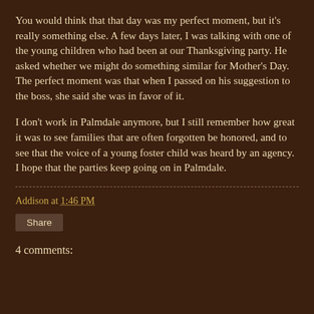You would think that that day was my perfect moment, but it's really something else. A few days later, I was talking with one of the young children who had been at our Thanksgiving party. He asked whether we might do something similar for Mother's Day. The perfect moment was that when I passed on his suggestion to the boss, she said she was in favor of it.

I don't work in Palmdale anymore, but I still remember how great it was to see families that are often forgotten be honored, and to see that the voice of a young foster child was heard by an agency. I hope that the parties keep going on in Palmdale.
Addison at 1:46 PM
Share
4 comments: